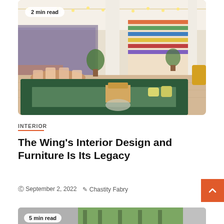[Figure (photo): Interior photo of The Wing coworking space showing a large sunken green velvet sectional sofa in the foreground, with string lights, white columns, colorful bookshelves, and dining tables in the background. Badge overlay reads '2 min read'.]
INTERIOR
The Wing's Interior Design and Furniture Is Its Legacy
September 2, 2022  Chastity Fabry
[Figure (photo): Partial photo at bottom of page with badge overlay reading '5 min read'. Shows what appears to be a space with large windows and trees outside.]